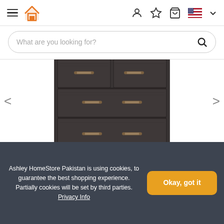Ashley HomeStore Pakistan — navigation header with hamburger menu, house logo, user icon, star icon, cart icon, flag icon, dropdown
What are you looking for?
[Figure (photo): Dark grey/charcoal wood dresser with 5 drawers and gold/brass bar handles against white background]
Ashley HomeStore Pakistan is using cookies, to guarantee the best shopping experience. Partially cookies will be set by third parties. Privacy Info
Okay, got it